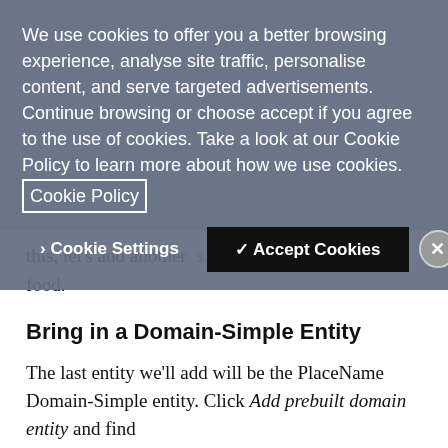We use cookies to offer you a better browsing experience, analyse site traffic, personalise content, and serve targeted advertisements. Continue browsing or choose accept if you agree to the use of cookies. Take a look at our Cookie Policy to learn more about how we use cookies. [Cookie Policy]
‣ Cookie Settings   ✓ Accept Cookies   ✕
this, let's add another simple entity and call it food.
Bring in a Domain-Simple Entity
The last entity we'll add will be the PlaceName Domain-Simple entity. Click Add prebuilt domain entity and find RestaurantReservation.PlaceName. These prebuilt entities come along with hundreds of pre-trained utterances. Thus, they do a fair job of understanding what a place name